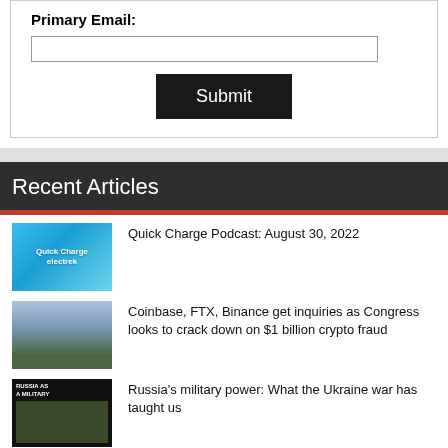Primary Email:
Submit
Recent Articles
Quick Charge Podcast: August 30, 2022
Coinbase, FTX, Binance get inquiries as Congress looks to crack down on $1 billion crypto fraud
Russia's military power: What the Ukraine war has taught us